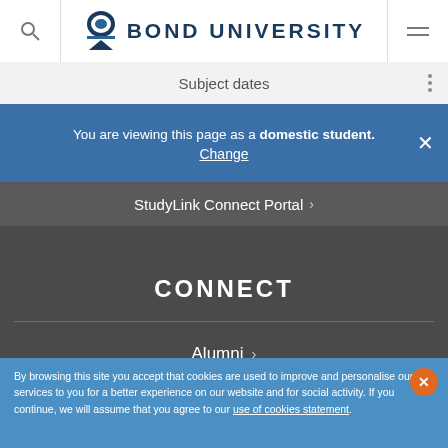Bond University
Subject dates
You are viewing this page as a domestic student. Change
StudyLink Connect Portal
CONNECT
Alumni
By browsing this site you accept that cookies are used to improve and personalise our services to you for a better experience on our website and for social activity. If you continue, we will assume that you agree to our use of cookies statement.